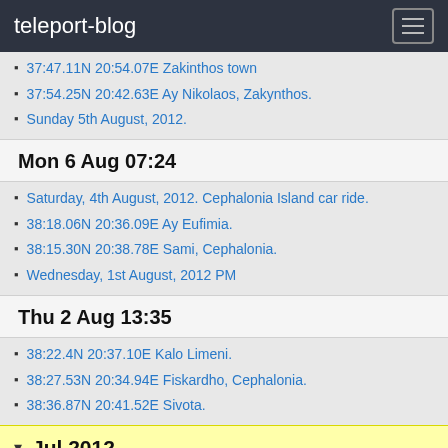teleport-blog
37:47.11N 20:54.07E Zakinthos town
37:54.25N 20:42.63E Ay Nikolaos, Zakynthos.
Sunday 5th August, 2012.
Mon 6 Aug 07:24
Saturday, 4th August, 2012. Cephalonia Island car ride.
38:18.06N 20:36.09E Ay Eufimia.
38:15.30N 20:38.78E Sami, Cephalonia.
Wednesday, 1st August, 2012 PM
Thu 2 Aug 13:35
38:22.4N 20:37.10E Kalo Limeni.
38:27.53N 20:34.94E Fiskardho, Cephalonia.
38:36.87N 20:41.52E Sivota.
Jul 2012
Mon 30 Jul 08:21
38:36.87N 20:41.52E
38:39.75N 20:45.6E
Wed 25 Jul 09:06